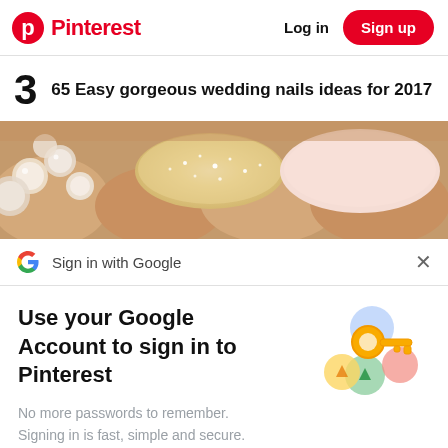Pinterest   Log in   Sign up
3   65 Easy gorgeous wedding nails ideas for 2017
[Figure (photo): Close-up photo of wedding nails with glitter and pearl decorations in pink/beige tones]
Sign in with Google
Use your Google Account to sign in to Pinterest
No more passwords to remember. Signing in is fast, simple and secure.
[Figure (illustration): Google sign-in illustration with a golden key and colorful circular icons]
Continue